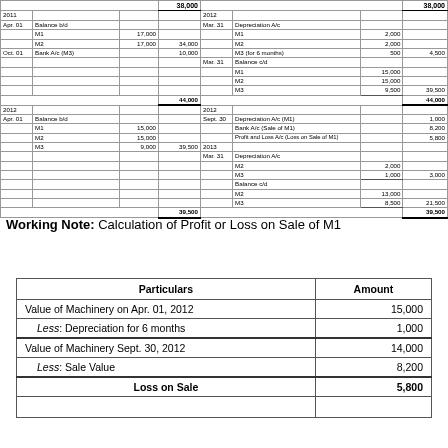| Date | Particulars | Sub-amount | Total | Date | Particulars | Sub-amount | Total |
| --- | --- | --- | --- | --- | --- | --- | --- |
|  |  |  | 38,000 |  |  |  | 38,000 |
| 2011 |  |  |  | 2012 |  |  |  |
| Apr. 01 | Balance b/d |  |  | Mar. 31 | Depreciation A/c |  |  |
|  | M1 | 17,000 |  |  | M1 | 2,000 |  |
|  | M2 | 17,000 | 34,000 |  | M2 | 2,000 |  |
| Oct. 01 | Bank A/c (M3) |  | 10,000 |  | M3 (for 6 months) | 500 | 4,500 |
|  |  |  |  | Mar. 31 | Balance c/d |  |  |
|  |  |  |  |  | M1 | 15,000 |  |
|  |  |  |  |  | M2 | 15,000 |  |
|  |  |  |  |  | M3 | 9,500 | 39,500 |
|  |  |  | 44,000 |  |  |  | 44,000 |
| 2012 |  |  |  | 2012 |  |  |  |
| Apr. 01 | Balance b/d |  |  | Sept. 30 | Depreciation A/c (M1) |  | 1,000 |
|  | M1 | 15,000 |  |  | Bank A/c (Sale of M1) |  | 8,200 |
|  | M2 | 15,000 |  |  | Profit and Loss A/c (Loss on Sale of M1) |  | 5,800 |
|  | M3 | 9,000 | 39,500 | 2013 |  |  |  |
|  |  |  |  | Mar. 31 | Depreciation A/c |  |  |
|  |  |  |  |  | M2 | 2,000 |  |
|  |  |  |  |  | M3 | 1,000 | 3,000 |
|  |  |  |  |  | Balance c/d |  |  |
|  |  |  |  |  | M2 | 13,000 |  |
|  |  |  |  |  | M3 | 8,500 | 21,500 |
|  |  |  | 39,500 |  |  |  | 39,500 |
Working Note: Calculation of Profit or Loss on Sale of M1
| Particulars | Amount |
| --- | --- |
| Value of Machinery on Apr. 01, 2012 | 15,000 |
| Less: Depreciation for 6 months | 1,000 |
| Value of Machinery Sept. 30, 2012 | 14,000 |
| Less: Sale Value | 8,200 |
| Loss on Sale | 5,800 |
|  |  |